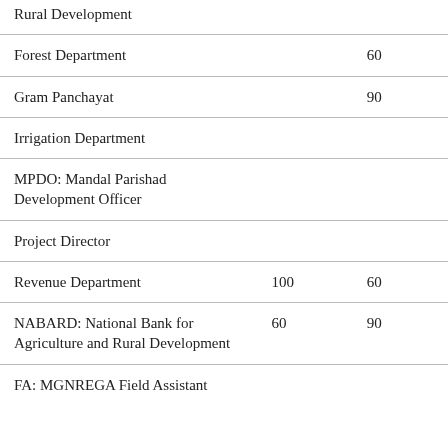| Rural Development |  |  |
| Forest Department |  | 60 |
| Gram Panchayat |  | 90 |
| Irrigation Department |  |  |
| MPDO: Mandal Parishad Development Officer |  |  |
| Project Director |  |  |
| Revenue Department | 100 | 60 |
| NABARD: National Bank for Agriculture and Rural Development | 60 | 90 |
| FA: MGNREGA Field Assistant |  |  |